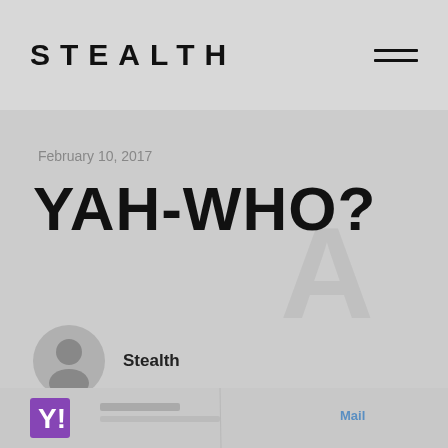STEALTH
February 10, 2017
YAH-WHO?
Stealth
[Figure (screenshot): Partial screenshot of Yahoo website visible at bottom of page]